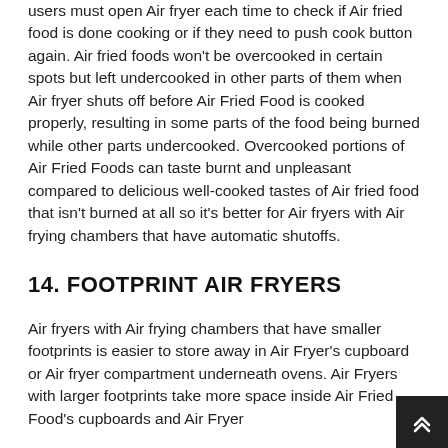users must open Air fryer each time to check if Air fried food is done cooking or if they need to push cook button again. Air fried foods won't be overcooked in certain spots but left undercooked in other parts of them when Air fryer shuts off before Air Fried Food is cooked properly, resulting in some parts of the food being burned while other parts undercooked. Overcooked portions of Air Fried Foods can taste burnt and unpleasant compared to delicious well-cooked tastes of Air fried food that isn't burned at all so it's better for Air fryers with Air frying chambers that have automatic shutoffs.
14. FOOTPRINT AIR FRYERS
Air fryers with Air frying chambers that have smaller footprints is easier to store away in Air Fryer's cupboard or Air fryer compartment underneath ovens. Air Fryers with larger footprints take more space inside Air Fried Food's cupboards and Air Fryer